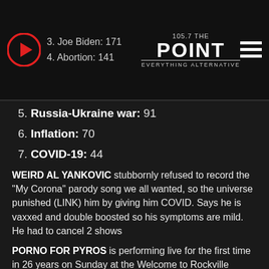105.7 THE POINT — EVERYTHING ALTERNATIVE
3. Joe Biden:  171
4. Abortion:  141
5. Russia-Ukraine war:  91
6. Inflation:  70
7. COVID-19:  44
WEIRD AL YANKOVIC stubbornly refused to record the "My Corona" parody song we all wanted, so the universe punished (LINK) him by giving him COVID. Says he is vaxxed and double boosted so his symptoms are mild. He had to cancel 2 shows
PORNO FOR PYROS is performing live for the first time in 26 years on Sunday at the Welcome to Rockville festival in Daytona Beach, Florida. JANE'S ADDICTION was supposed to play, but they had to